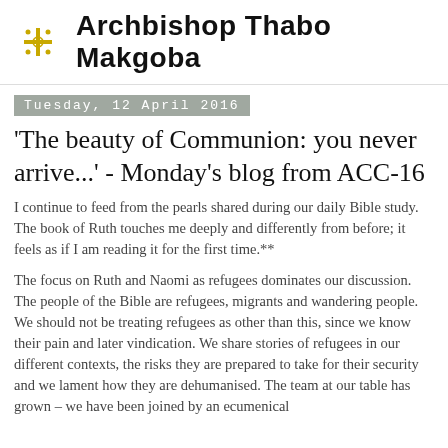Archbishop Thabo Makgoba
Tuesday, 12 April 2016
'The beauty of Communion: you never arrive...' - Monday's blog from ACC-16
I continue to feed from the pearls shared during our daily Bible study. The book of Ruth touches me deeply and differently from before; it feels as if I am reading it for the first time.**
The focus on Ruth and Naomi as refugees dominates our discussion. The people of the Bible are refugees, migrants and wandering people. We should not be treating refugees as other than this, since we know their pain and later vindication. We share stories of refugees in our different contexts, the risks they are prepared to take for their security and we lament how they are dehumanised. The team at our table has grown – we have been joined by an ecumenical